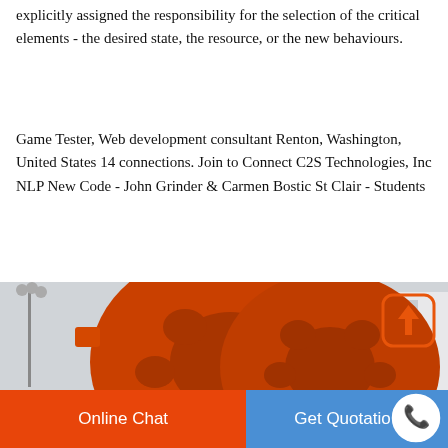explicitly assigned the responsibility for the selection of the critical elements - the desired state, the resource, or the new behaviours.
Game Tester, Web development consultant Renton, Washington, United States 14 connections. Join to Connect C2S Technologies, Inc NLP New Code - John Grinder & Carmen Bostic St Clair - Students
[Figure (photo): Large orange industrial gear/sprocket machinery photographed outdoors with a building and lamp post in the background]
Online Chat    Get Quotation